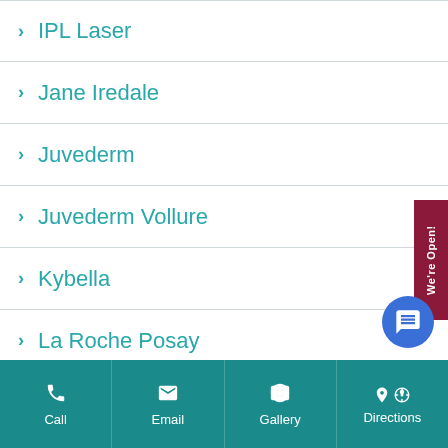IPL Laser
Jane Iredale
Juvederm
Juvederm Vollure
Kybella
La Roche Posay
Labiaplasty
Laser Hair Removal
Laser Skin Resurfacing
Call  Email  Gallery  Directions